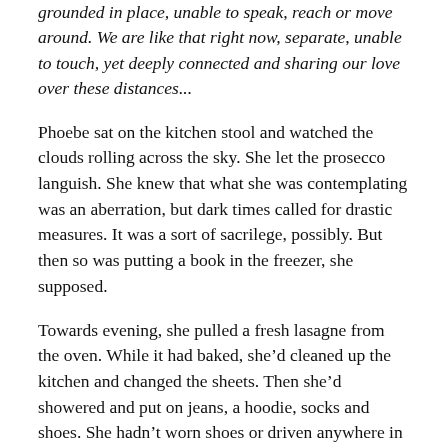grounded in place, unable to speak, reach or move around. We are like that right now, separate, unable to touch, yet deeply connected and sharing our love over these distances...
Phoebe sat on the kitchen stool and watched the clouds rolling across the sky. She let the prosecco languish. She knew that what she was contemplating was an aberration, but dark times called for drastic measures. It was a sort of sacrilege, possibly. But then so was putting a book in the freezer, she supposed.
Towards evening, she pulled a fresh lasagne from the oven. While it had baked, she’d cleaned up the kitchen and changed the sheets. Then she’d showered and put on jeans, a hoodie, socks and shoes. She hadn’t worn shoes or driven anywhere in a week, and it felt good. Within the hour, each of Phoebe’s friends had received a takeaway container labelled Lockdown Lasagne.
* * *
Twelve months later, Matthew was long gone and her face